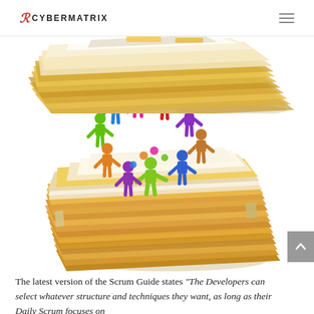CYBERMATRIX
[Figure (illustration): Stack of papers/folders viewed from above (partial, top crop)]
[Figure (illustration): Colorful cartoon figurines standing in a circle on top of a large stack of file folders/papers]
The latest version of the Scrum Guide states “The Developers can select whatever structure and techniques they want, as long as their Daily Scrum focuses on